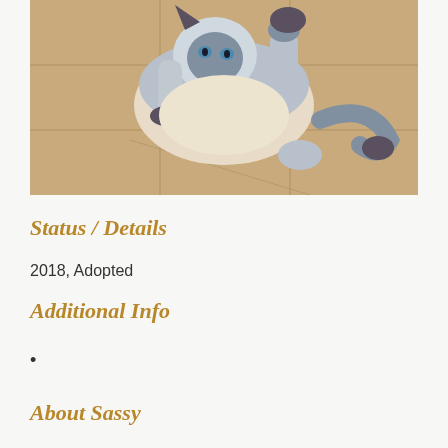[Figure (photo): A Siamese cat lying on its back on a tan/beige tile floor, looking up at the camera with blue eyes. The cat has dark points on face, ears, legs and tail with a white/cream body.]
Status / Details
2018, Adopted
Additional Info
About Sassy